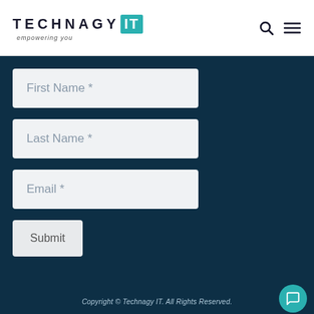[Figure (logo): Technagy IT logo with teal IT box and tagline 'empowering you']
First Name *
Last Name *
Email *
Submit
Copyright © Technagy IT. All Rights Reserved.